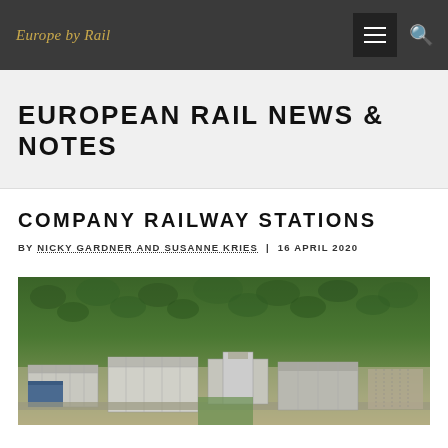Europe by Rail
EUROPEAN RAIL NEWS & NOTES
COMPANY RAILWAY STATIONS
BY NICKY GARDNER AND SUSANNE KRIES | 16 APRIL 2020
[Figure (photo): Aerial photograph of an industrial or commercial campus surrounded by forest, showing large warehouse/factory buildings with parking areas and roads]